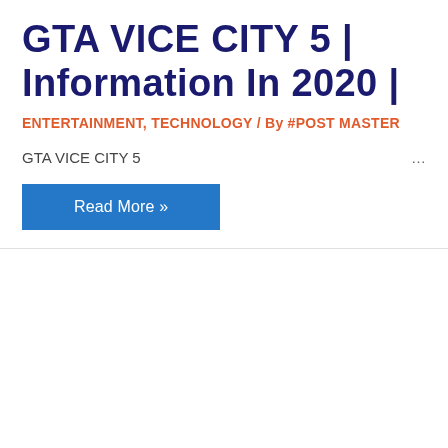GTA VICE CITY 5 | Information In 2020 |
ENTERTAINMENT, TECHNOLOGY / By #POST MASTER
GTA VICE CITY 5 ...
Read More »